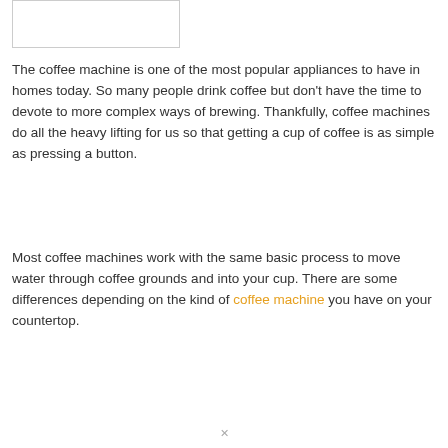[Figure (other): Partial image or screenshot box visible at top of page]
The coffee machine is one of the most popular appliances to have in homes today. So many people drink coffee but don't have the time to devote to more complex ways of brewing. Thankfully, coffee machines do all the heavy lifting for us so that getting a cup of coffee is as simple as pressing a button.
Most coffee machines work with the same basic process to move water through coffee grounds and into your cup. There are some differences depending on the kind of coffee machine you have on your countertop.